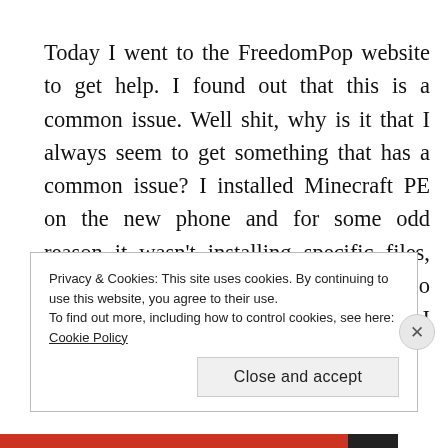Today I went to the FreedomPop website to get help. I found out that this is a common issue. Well shit, why is it that I always seem to get something that has a common issue? I installed Minecraft PE on the new phone and for some odd reason it wasn't installing specific files, and guess what? It's a common issue. So here I am with this awesome phone that I can't make
Privacy & Cookies: This site uses cookies. By continuing to use this website, you agree to their use.
To find out more, including how to control cookies, see here: Cookie Policy
Close and accept